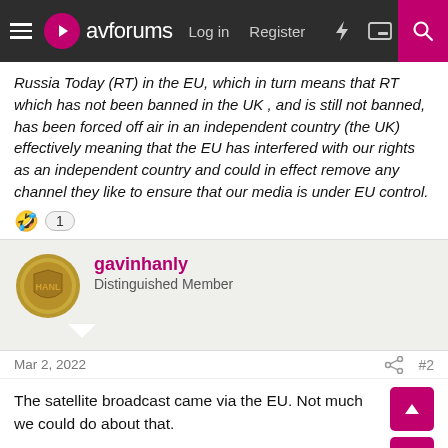avforums — Log in | Register
Russia Today (RT) in the EU, which in turn means that RT which has not been banned in the UK , and is still not banned, has been forced off air in an independent country (the UK) effectively meaning that the EU has interfered with our rights as an independent country and could in effect remove any channel they like to ensure that our media is under EU control.
gavinhanly — Distinguished Member
Mar 2, 2022   #2
The satellite broadcast came via the EU. Not much we could do about that.

Put It this way - if a product was sourced from the EU but banned there, we would no longer be able to buy it from the EU. We could try to source it elsewhere though. Unless it then got